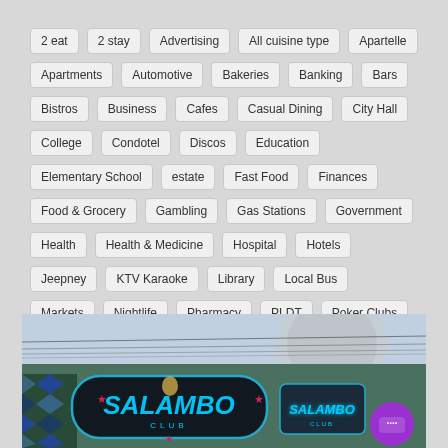2 eat
2 stay
Advertising
All cuisine type
Apartelle
Apartments
Automotive
Bakeries
Banking
Bars
Bistros
Business
Cafes
Casual Dining
City Hall
College
Condotel
Discos
Education
Elementary School
estate
Fast Food
Finances
Food & Grocery
Gambling
Gas Stations
Government
Health
Health & Medicine
Hospital
Hotels
Jeepney
KTV Karaoke
Library
Local Bus
Markets
Nightlife
Pharmacy
PLDT
Poker Clubs
Rent a Van
Retail Shopping
Shopping
Shopping Malls
Trikes
[Figure (photo): Street-level photo of the Salambo Club signage with neon cyan lettering on a dark capsule-shaped sign, with power lines overhead and a purple chat bubble icon in the lower right corner.]